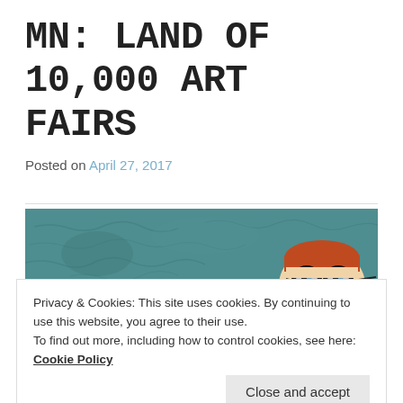MN: LAND OF 10,000 ART FAIRS
Posted on April 27, 2017
[Figure (photo): Painting of a character with red hair and large round glasses peeking up from the bottom of frame, against a textured teal/blue-green painted background]
Privacy & Cookies: This site uses cookies. By continuing to use this website, you agree to their use.
To find out more, including how to control cookies, see here:
Cookie Policy
Close and accept